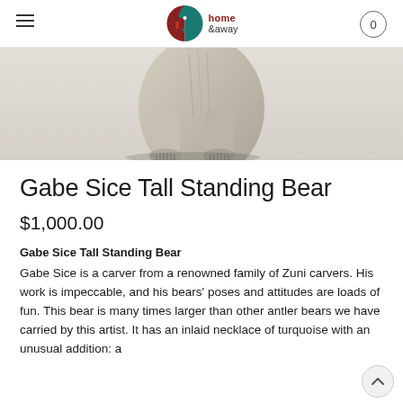home & away
[Figure (photo): Bottom portion of a carved standing bear fetish sculpture in antler/bone material, light cream/gray color, on white background. Shows the lower body and feet of the bear carving.]
Gabe Sice Tall Standing Bear
$1,000.00
Gabe Sice Tall Standing Bear
Gabe Sice is a carver from a renowned family of Zuni carvers. His work is impeccable, and his bears' poses and attitudes are loads of fun. This bear is many times larger than other antler bears we have carried by this artist. It has an inlaid necklace of turquoise with an unusual addition: a